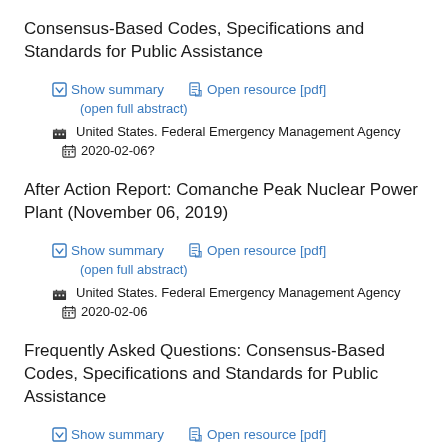Consensus-Based Codes, Specifications and Standards for Public Assistance
Show summary | Open resource [pdf] | (open full abstract) | United States. Federal Emergency Management Agency | 2020-02-06?
After Action Report: Comanche Peak Nuclear Power Plant (November 06, 2019)
Show summary | Open resource [pdf] | (open full abstract) | United States. Federal Emergency Management Agency | 2020-02-06
Frequently Asked Questions: Consensus-Based Codes, Specifications and Standards for Public Assistance
Show summary | Open resource [pdf]